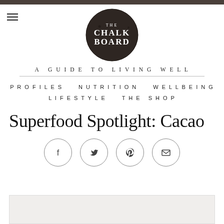The Chalk Board — A Guide To Living Well
PROFILES  NUTRITION  WELLBEING  LIFESTYLE  THE SHOP
Superfood Spotlight: Cacao
[Figure (illustration): Social sharing icons: Facebook, Twitter, Pinterest, Email — circular outline buttons]
[Figure (photo): Partial image/photo at bottom of page, cropped]